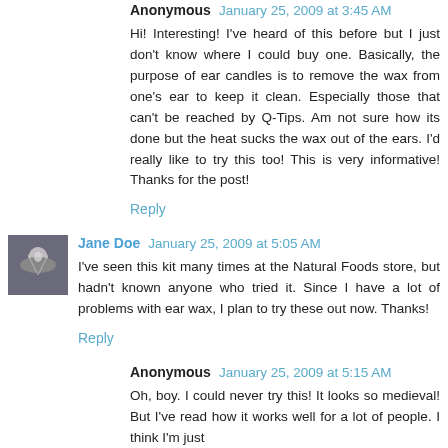Anonymous January 25, 2009 at 3:45 AM
Hi! Interesting! I've heard of this before but I just don't know where I could buy one. Basically, the purpose of ear candles is to remove the wax from one's ear to keep it clean. Especially those that can't be reached by Q-Tips. Am not sure how its done but the heat sucks the wax out of the ears. I'd really like to try this too! This is very informative! Thanks for the post!
Reply
Jane Doe January 25, 2009 at 5:05 AM
I've seen this kit many times at the Natural Foods store, but hadn't known anyone who tried it. Since I have a lot of problems with ear wax, I plan to try these out now. Thanks!
Reply
Anonymous January 25, 2009 at 5:15 AM
Oh, boy. I could never try this! It looks so medieval! But I've read how it works well for a lot of people. I think I'm just